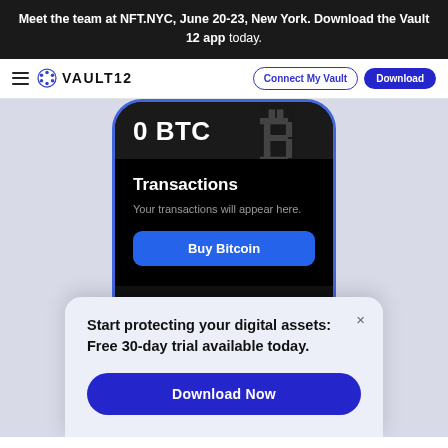Meet the team at NFT.NYC, June 20-23, New York. Download the Vault 12 app today.
[Figure (screenshot): Vault 12 navigation bar with hamburger menu, Vault12 logo, Connect My Vault outlined button, and Download solid blue button]
[Figure (screenshot): Phone mockup showing Vault12 app with 0 BTC balance, Transactions section with 'Your transactions will appear here.' text, Buy Bitcoin button, and a popup overlay saying 'Start protecting your digital assets: Free 30-day trial available today.' with a Download Now button]